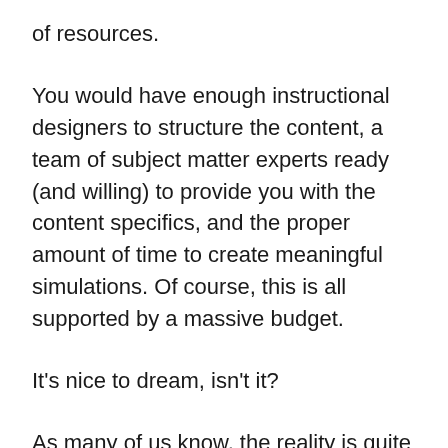of resources.
You would have enough instructional designers to structure the content, a team of subject matter experts ready (and willing) to provide you with the content specifics, and the proper amount of time to create meaningful simulations. Of course, this is all supported by a massive budget.
It’s nice to dream, isn’t it?
As many of us know, the reality is quite different.
Subject matter experts never have the time…